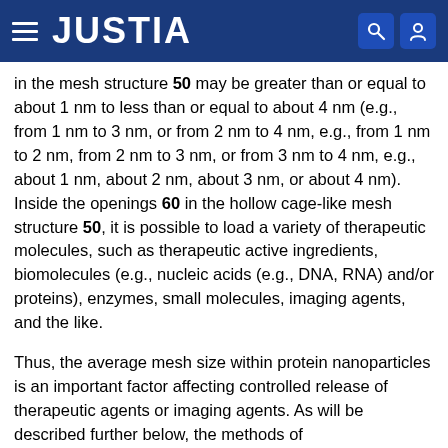JUSTIA
in the mesh structure 50 may be greater than or equal to about 1 nm to less than or equal to about 4 nm (e.g., from 1 nm to 3 nm, or from 2 nm to 4 nm, e.g., from 1 nm to 2 nm, from 2 nm to 3 nm, or from 3 nm to 4 nm, e.g., about 1 nm, about 2 nm, about 3 nm, or about 4 nm). Inside the openings 60 in the hollow cage-like mesh structure 50, it is possible to load a variety of therapeutic molecules, such as therapeutic active ingredients, biomolecules (e.g., nucleic acids (e.g., DNA, RNA) and/or proteins), enzymes, small molecules, imaging agents, and the like.
Thus, the average mesh size within protein nanoparticles is an important factor affecting controlled release of therapeutic agents or imaging agents. As will be described further below, the methods of electrohydrodynamic jetting used to fabricate